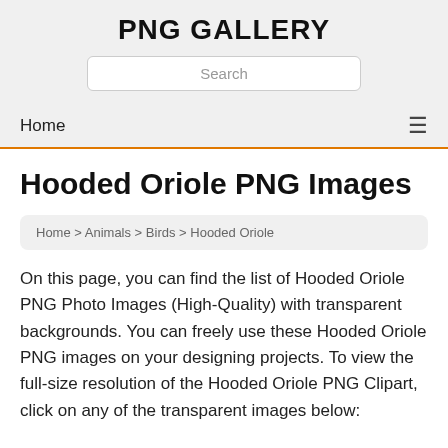PNG GALLERY
Search
Home
Hooded Oriole PNG Images
Home > Animals > Birds > Hooded Oriole
On this page, you can find the list of Hooded Oriole PNG Photo Images (High-Quality) with transparent backgrounds. You can freely use these Hooded Oriole PNG images on your designing projects. To view the full-size resolution of the Hooded Oriole PNG Clipart, click on any of the transparent images below: